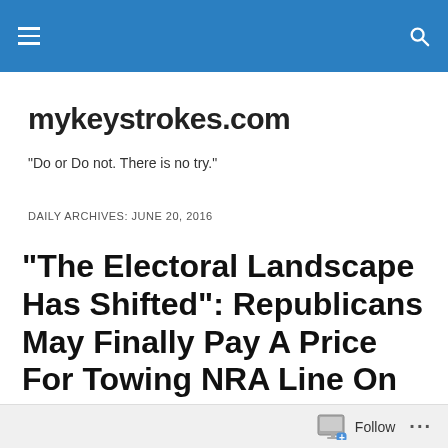mykeystrokes.com [navigation header bar]
mykeystrokes.com
"Do or Do not. There is no try."
DAILY ARCHIVES: JUNE 20, 2016
“The Electoral Landscape Has Shifted”: Republicans May Finally Pay A Price For Towing NRA Line On Guns
Connecticut Senator Chris Murphy...
Follow ...